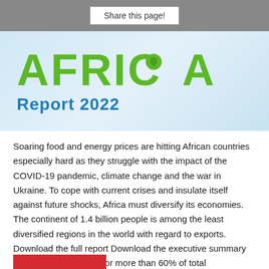Share this page!
[Figure (logo): Africa Report 2022 banner logo with large green AFRICA text and blue 'Report 2022' subtitle on a light blue gradient background]
Soaring food and energy prices are hitting African countries especially hard as they struggle with the impact of the COVID-19 pandemic, climate change and the war in Ukraine. To cope with current crises and insulate itself against future shocks, Africa must diversify its economies. The continent of 1.4 billion people is among the least diversified regions in the world with regard to exports. Download the full report Download the executive summary Commodities account for more than 60% of total merchandise [...]